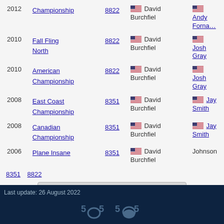| Year | Event | Score | Pilot | Co-Pilot |
| --- | --- | --- | --- | --- |
| 2012 | Championship | 8822 | David Burchfiel | Andy Forna… |
| 2010 | Fall Fling North | 8822 | David Burchfiel | Josh Gray |
| 2010 | American Championship | 8822 | David Burchfiel | Josh Gray |
| 2008 | East Coast Championship | 8351 | David Burchfiel | Jay Smith |
| 2008 | Canadian Championship | 8351 | David Burchfiel | Jay Smith |
| 2006 | Plane Insane | 8351 | David Burchfiel | Johnson |
8351  8822
I know more and I want to fill form
Previous: David Bull    Next: David Butcher
Last update: 26 August 2022